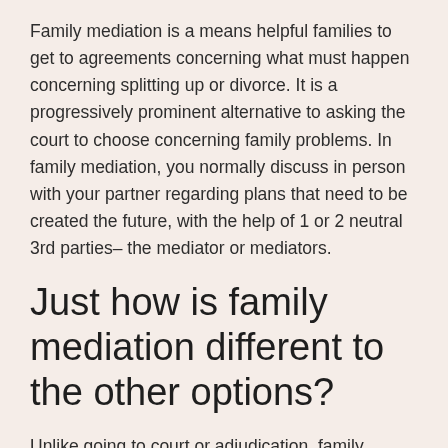Family mediation is a means helpful families to get to agreements concerning what must happen concerning splitting up or divorce. It is a progressively prominent alternative to asking the court to choose concerning family problems. In family mediation, you normally discuss in person with your partner regarding plans that need to be created the future, with the help of 1 or 2 neutral 3rd parties– the mediator or mediators.
Just how is family mediation different to the other options?
Unlike going to court or adjudication, family mediation identifies that you are the specialists concerning your very own family and leaves the